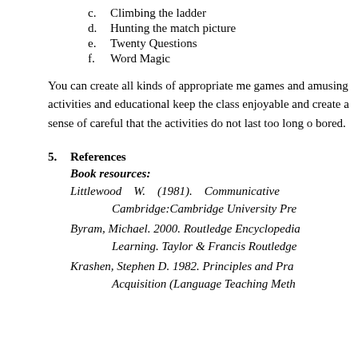c. Climbing the ladder
d. Hunting the match picture
e. Twenty Questions
f. Word Magic
You can create all kinds of appropriate me games and amusing activities and educational keep the class enjoyable and create a sense of careful that the activities do not last too long bored.
5. References
Book resources:
Littlewood W. (1981). Communicative Cambridge:Cambridge University Pre
Byram, Michael. 2000. Routledge Encyclopedia Learning. Taylor & Francis Routledge
Krashen, Stephen D. 1982. Principles and Pra Acquisition (Language Teaching Meth